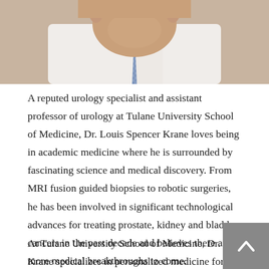[Figure (photo): A partial photo of a man (doctor) in a white coat and blue patterned shirt/tie, visible from neck/chin upward]
A reputed urology specialist and assistant professor of urology at Tulane University School of Medicine, Dr. Louis Spencer Krane loves being in academic medicine where he is surrounded by fascinating science and medical discovery. From MRI fusion guided biopsies to robotic surgeries, he has been involved in significant technological advances for treating prostate, kidney and bladder cancers in the past decade and believes there are more medical breakthroughs to come.
At Tulane University School of Medicine, Dr. Krane specializes in personalized medicine for patients with